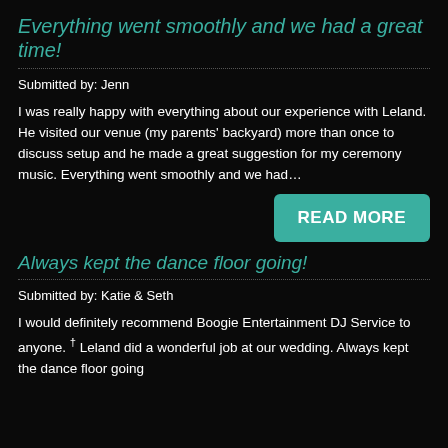Everything went smoothly and we had a great time!
Submitted by: Jenn
I was really happy with everything about our experience with Leland. He visited our venue (my parents' backyard) more than once to discuss setup and he made a great suggestion for my ceremony music. Everything went smoothly and we had…
[Figure (other): READ MORE button in teal/green color]
Always kept the dance floor going!
Submitted by: Katie & Seth
I would definitely recommend Boogie Entertainment DJ Service to anyone. † Leland did a wonderful job at our wedding. Always kept the dance floor going